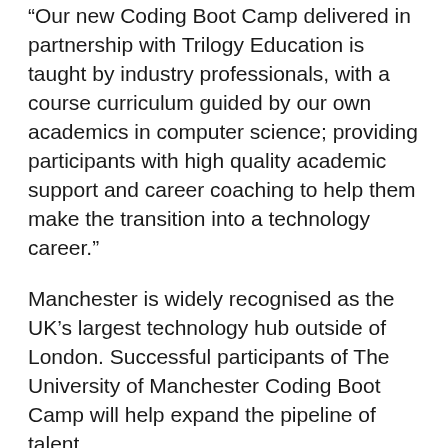“Our new Coding Boot Camp delivered in partnership with Trilogy Education is taught by industry professionals, with a course curriculum guided by our own academics in computer science; providing participants with high quality academic support and career coaching to help them make the transition into a technology career.”
Manchester is widely recognised as the UK’s largest technology hub outside of London. Successful participants of The University of Manchester Coding Boot Camp will help expand the pipeline of talent.
Dan Sommer, CEO and Founder of Trilogy Education said: “Technology is transforming Manchester’s economy, but its continued growth hinges upon an increasing supply of digitally-skilled workers. The University of Manchester joins a growing network of top universities that are working to create stronger, more resilient cities through skills-based training